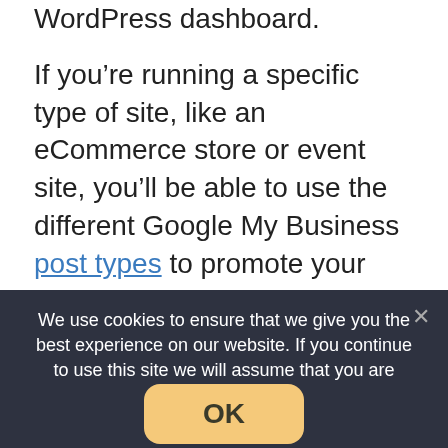WordPress dashboard.
If you’re running a specific type of site, like an eCommerce store or event site, you’ll be able to use the different Google My Business post types to promote your products, offers, or events. And you’ll also be able to share to multiple Google My Business profiles from the same WordPress dashboard.
All in all, give this one a look if you’re looking for an easier way to post to Google My Business:
We use cookies to ensure that we give you the best experience on our website. If you continue to use this site we will assume that you are happy with it.
OK